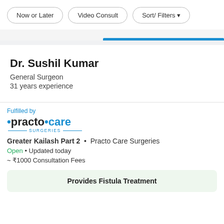[Figure (screenshot): Filter buttons row: Now or Later, Video Consult, Sort/ Filters with dropdown arrow]
Dr. Sushil Kumar
General Surgeon
31 years experience
Fulfilled by
[Figure (logo): practo•care SURGERIES logo]
Greater Kailash Part 2 • Practo Care Surgeries
Open • Updated today
~ ₹1000 Consultation Fees
Provides Fistula Treatment